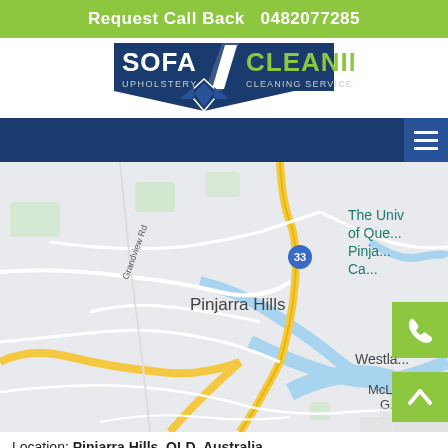Request Call Back  0482077285
[Figure (logo): Sofa Cleaning Upholstery Cleaning Services logo — dark blue pentagon shape with white text SOFA / CLEANING, UPHOLSTERY / CLEANING SERVICES, and a white/blue star/arrow emblem]
[Figure (map): Google Maps view centered on Pinjarra Hills, QLD Australia, showing Brisbane River, Grandview Rd, route 33, University of Queensland Pinjarra Campus, Westlake, McLeod G, Horizon Dr labels]
Location: Pinjarra Hills, QLD, Australia